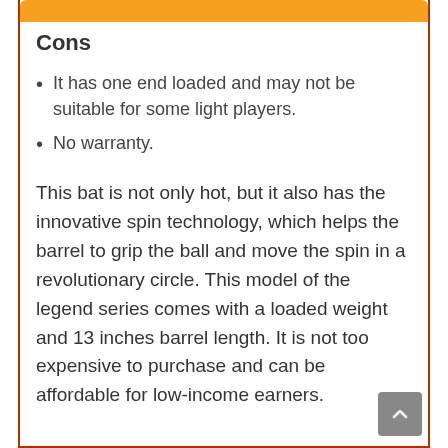Cons
It has one end loaded and may not be suitable for some light players.
No warranty.
This bat is not only hot, but it also has the innovative spin technology, which helps the barrel to grip the ball and move the spin in a revolutionary circle. This model of the legend series comes with a loaded weight and 13 inches barrel length. It is not too expensive to purchase and can be affordable for low-income earners.